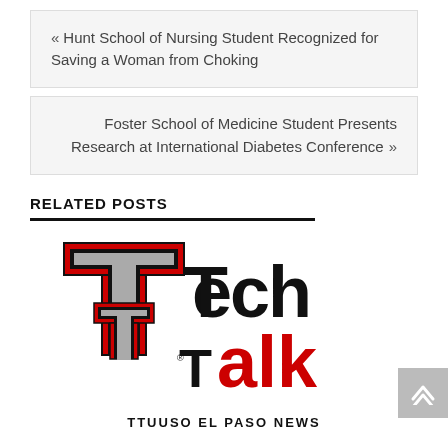« Hunt School of Nursing Student Recognized for Saving a Woman from Choking
Foster School of Medicine Student Presents Research at International Diabetes Conference »
RELATED POSTS
[Figure (logo): Tech Talk logo with Texas Tech University double-T emblem in red and black, with 'TTUUSO EL PASO NEWS' text below]